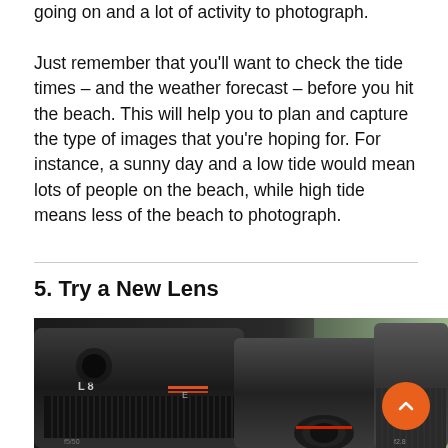going on and a lot of activity to photograph. Just remember that you'll want to check the tide times – and the weather forecast – before you hit the beach. This will help you to plan and capture the type of images that you're hoping for. For instance, a sunny day and a low tide would mean lots of people on the beach, while high tide means less of the beach to photograph.
5. Try a New Lens
[Figure (photo): Close-up photograph of multiple camera lenses arranged together, showing dark black lens barrels with focus rings and markings including '8' visible on one lens.]